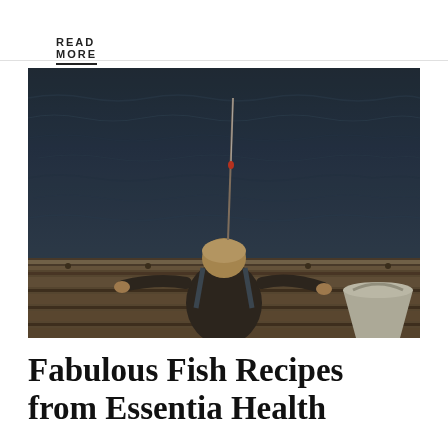READ MORE
[Figure (photo): A young child sitting on a wooden dock from behind, holding a fishing rod over dark rippling water, with a metal bucket to the right.]
Fabulous Fish Recipes from Essentia Health